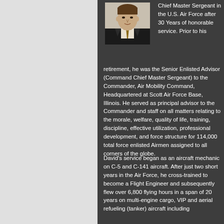[Figure (photo): Headshot of a man in a dark suit with a tie, against a neutral background]
Chief Master Sergeant in the U.S. Air Force after 30 Years of honorable service. Prior to his retirement, he was the Senior Enlisted Advisor (Command Chief Master Sergeant) to the Commander, Air Mobility Command, Headquartered at Scott Air Force Base, Illinois. He served as principal advisor to the Commander and staff on all matters relating to the morale, welfare, quality of life, training, discipline, effective utilization, professional development, and force structure for 114,000 total force enlisted Airmen assigned to all corners of the globe.
David's service began as an aircraft mechanic on C-5 and C-141 aircraft. After just two short years in the Air Force, he cross-trained to become a Flight Engineer and subsequently flew over 6,800 flying hours in a span of 20 years on multi-engine cargo, VIP and aerial refueling (tanker) aircraft including